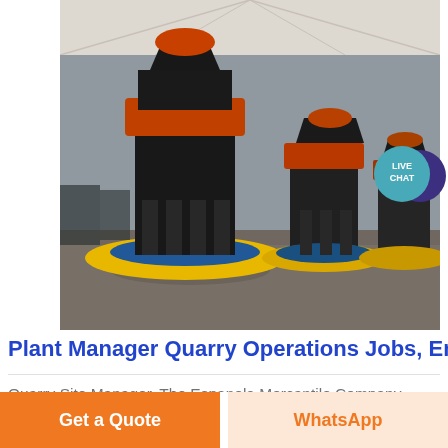[Figure (photo): Industrial quarry crushing machines (cone crushers) inside a large warehouse/tent structure with gravel on the floor]
Plant Manager Quarry Operations Jobs, Em…
Quarry Site Manager. The Espanola Mercantile Company. Winona, TX +5 loions. 60,000 70,000 a year. Easily apply. Urgently hiring. Plan and direct the daily operations at aggregate plant (s). Implements and monitors procedures to maximize plant efficiency whi…